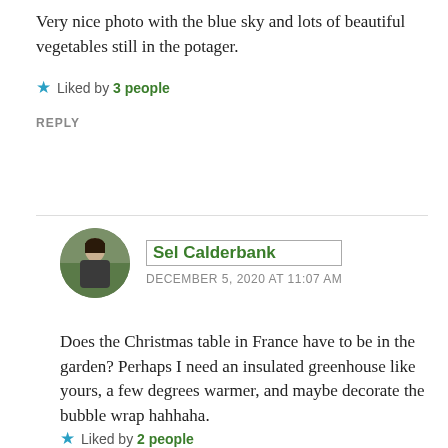Very nice photo with the blue sky and lots of beautiful vegetables still in the potager.
Liked by 3people
REPLY
Sel Calderbank
DECEMBER 5, 2020 AT 11:07 AM
Does the Christmas table in France have to be in the garden? Perhaps I need an insulated greenhouse like yours, a few degrees warmer, and maybe decorate the bubble wrap hahhaha.
Liked by 2people